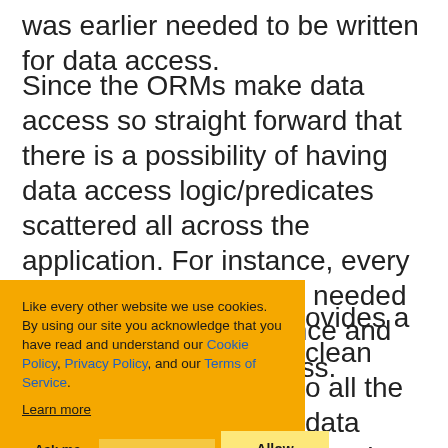was earlier needed to be written for data access.
Since the ORMs make data access so straight forward that there is a possibility of having data access logic/predicates scattered all across the application. For instance, every controller can have the needed ObjectContext instance and can perform data access.
[Figure (other): Cookie consent banner with orange background. Text: 'Like every other website we use cookies. By using our site you acknowledge that you have read and understand our Cookie Policy, Privacy Policy, and our Terms of Service. Learn more'. Buttons: 'Ask me later', 'Decline', 'Allow cookies'.]
ovides a clean o all the data d at the same plication. ory and unit of by application.
Seing the code